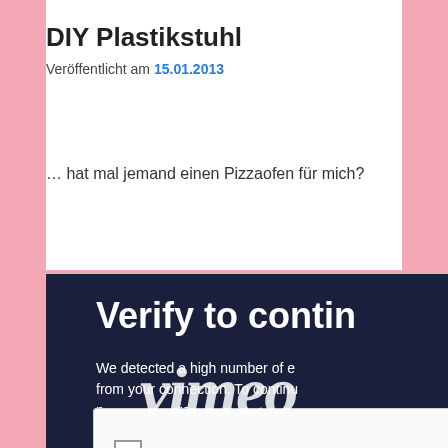DIY Plastikstuhl
Veröffentlicht am 15.01.2013
… hat mal jemand einen Pizzaofen für mich?
[Figure (screenshot): Screenshot of a Vimeo 'Verify to continue' CAPTCHA page with a 'I'm not a robot' reCAPTCHA checkbox, showing a large Vimeo watermark overlaid on the dark navy background.]